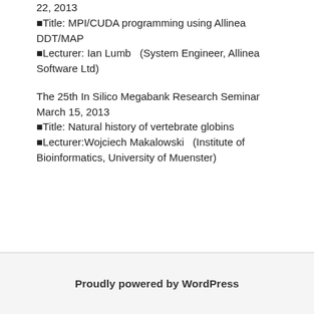22, 2013　■Title: MPI/CUDA programming using Allinea DDT/MAP ■Lecturer: Ian Lumb  (System Engineer, Allinea Software Ltd)
The 25th In Silico Megabank Research Seminar　March 15, 2013　 ■Title: Natural history of vertebrate globins ■Lecturer:Wojciech Makalowski  (Institute of Bioinformatics, University of Muenster)
Proudly powered by WordPress